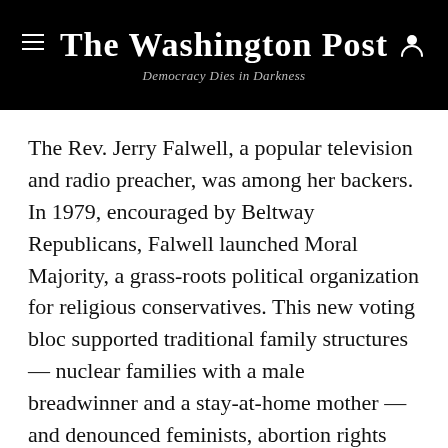The Washington Post — Democracy Dies in Darkness
The Rev. Jerry Falwell, a popular television and radio preacher, was among her backers. In 1979, encouraged by Beltway Republicans, Falwell launched Moral Majority, a grass-roots political organization for religious conservatives. This new voting bloc supported traditional family structures — nuclear families with a male breadwinner and a stay-at-home mother — and denounced feminists, abortion rights supporters and people in the LGBTQ community.
Their first goal was to elect Ronald Reagan to the presidency, and after he won, Falwell attributed